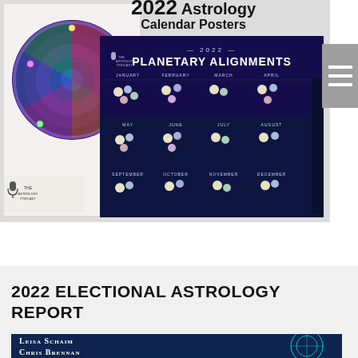[Figure (illustration): 2022 Astrology Calendar Posters product image showing two overlapping astrology calendar posters. Left poster shows a circular zodiac wheel chart in pink/purple tones. Right poster shows '2022 Planetary Alignments' calendar with planet symbols on a dark blue/purple background. 'The Astrology Podcast' branding visible. Title text '2022 Astrology Calendar Posters' appears in the upper right area.]
2022 ELECTIONAL ASTROLOGY REPORT
[Figure (illustration): Book or report cover image with dark blue background and teal astrology chart design. Authors listed: Leisa Schaim and Chris Brennan.]